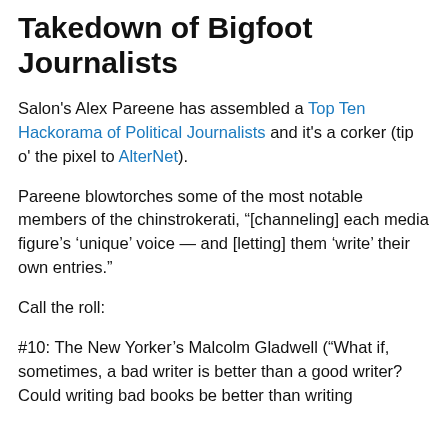Takedown of Bigfoot Journalists
Salon's Alex Pareene has assembled a Top Ten Hackorama of Political Journalists and it's a corker (tip o' the pixel to AlterNet).
Pareene blowtorches some of the most notable members of the chinstrokerati, “[channeling] each media figure’s ‘unique’ voice — and [letting] them ‘write’ their own entries.”
Call the roll:
#10: The New Yorker’s Malcolm Gladwell (“What if, sometimes, a bad writer is better than a good writer? Could writing bad books be better than writing